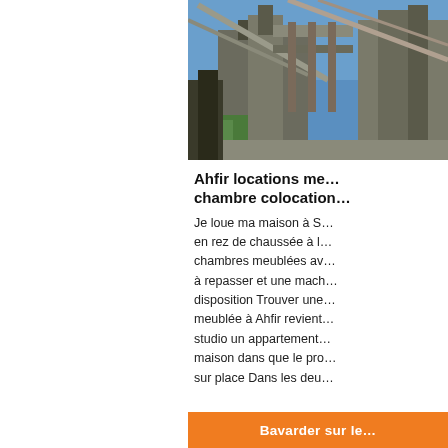[Figure (photo): Industrial building or factory exterior with metal structures, conveyor belts, and blue sky background]
Ahfir locations me… chambre colocation…
Je loue ma maison à S… en rez de chaussée à l… chambres meublées av… à repasser et une mach… disposition Trouver une… meublée à Ahfir revient… studio un appartement… maison dans que le pro… sur place Dans les deu…
Bavarder sur le…